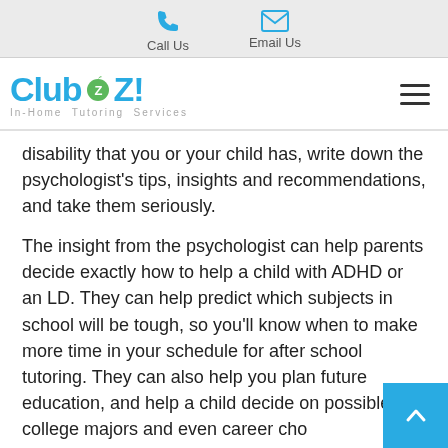Call Us   Email Us
[Figure (logo): Club Z! In-Home Tutoring Services logo with blue text and green apple icon]
disability that you or your child has, write down the psychologist's tips, insights and recommendations, and take them seriously.
The insight from the psychologist can help parents decide exactly how to help a child with ADHD or an LD. They can help predict which subjects in school will be tough, so you'll know when to make more time in your schedule for after school tutoring. They can also help you plan future education, and help a child decide on possible college majors and even career cho...